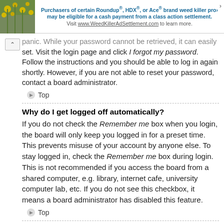[Figure (screenshot): Advertisement banner: flower/nature image on left, text about Roundup/HDX/Ace weed killer class action settlement, with close button]
panic. While your password cannot be retrieved, it can easily be reset. Visit the login page and click I forgot my password. Follow the instructions and you should be able to log in again shortly. However, if you are not able to reset your password, contact a board administrator.
Top
Why do I get logged off automatically?
If you do not check the Remember me box when you login, the board will only keep you logged in for a preset time. This prevents misuse of your account by anyone else. To stay logged in, check the Remember me box during login. This is not recommended if you access the board from a shared computer, e.g. library, internet cafe, university computer lab, etc. If you do not see this checkbox, it means a board administrator has disabled this feature.
Top
What does the “Delete cookies” do?
“Delete cookies” deletes the cookies created by phpBB which keep you authenticated and logged into the board. Cookies also provide functions such as read tracking if they have been enabled by a